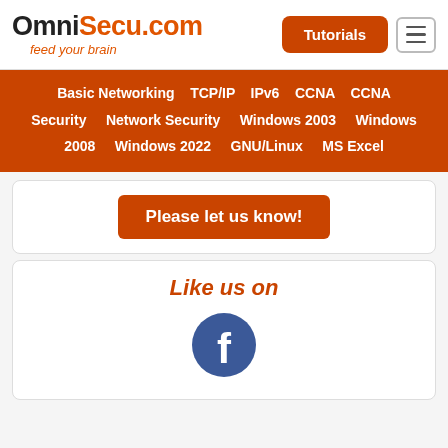OmniSecu.com feed your brain — Tutorials | Menu
Basic Networking  TCP/IP  IPv6  CCNA  CCNA Security  Network Security  Windows 2003  Windows 2008  Windows 2022  GNU/Linux  MS Excel
Please let us know!
Like us on
[Figure (logo): Facebook logo blue circle with white letter f]